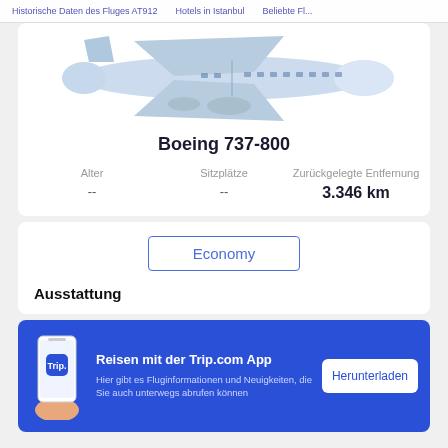Historische Daten des Fluges AT912   Hotels in Istanbul   Beliebte Fl...
[Figure (illustration): Illustration of a commercial passenger aircraft (Boeing 737-800) in light blue/grey color scheme, side view, on white background]
Boeing 737-800
Alter
--
Sitzplätze
--
Zurückgelegte Entfernung
3.346 km
Economy
Ausstattung
[Figure (infographic): Trip.com app promotional banner: blue background, hand holding phone with Trip. app logo, text 'Reisen mit der Trip.com App', download button]
Reisen mit der Trip.com App
Hier gibt es Fluginformationen und Neuigkeiten, die Sie auch unterwegs abrufen können
Herunterladen